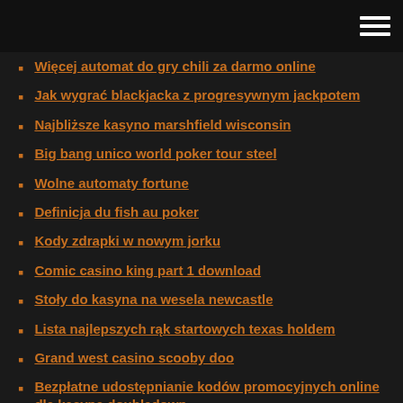Więcej automat do gry chili za darmo online
Jak wygrać blackjacka z progresywnym jackpotem
Najbliższe kasyno marshfield wisconsin
Big bang unico world poker tour steel
Wolne automaty fortune
Definicja du fish au poker
Kody zdrapki w nowym jorku
Comic casino king part 1 download
Stoły do kasyna na wesela newcastle
Lista najlepszych rąk startowych texas holdem
Grand west casino scooby doo
Bezpłatne udostępnianie kodów promocyjnych online dla kasyna doubledown
Kasyno rv parking lichlin nv